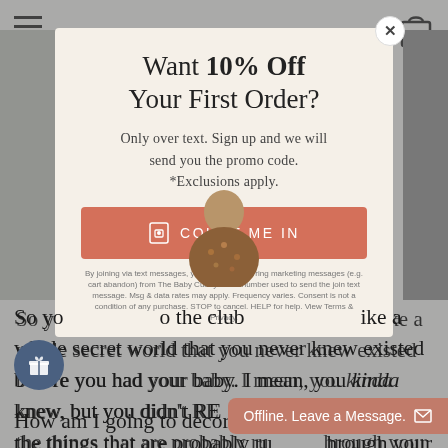[Figure (screenshot): Background webpage with hamburger menu icon top-left, shopping bag icon top-right, and article text about baby products visible behind the modal overlay.]
Want 10% Off Your First Order?
Only over text. Sign up and we will send you the promo code. *Exclusions apply.
COUNT ME IN
By joining via text messages, you agree to recurring marketing messages (e.g. cart abandon) from The Baby Cubby to the number used to send the join text message. Msg & data rates may apply. Frequency varies. Consent is not a condition of any purchase. STOP to cancel. HELP for help. View Terms & Privacy.
So you joined the club ... like a whole secret world that you never knew existed before you had your baby. I mean, you kinda knew, but you didn't REALLY know. So here are the things that are probably running through your mind right now:
How am I going to decorate thi
Offline. Leave a Message.